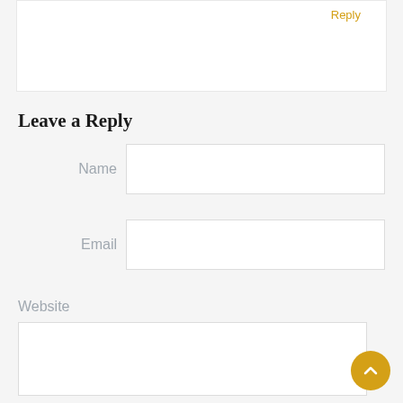Reply
Leave a Reply
Name
Email
Website
Comment *